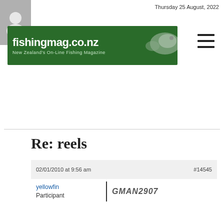Thursday 25 August, 2022
[Figure (logo): fishingmag.co.nz logo banner with fish image — New Zealand's On-Line Fishing Magazine]
Re: reels
02/01/2010 at 9:56 am   #14545
yellowfin
Participant
|
GMAN2907